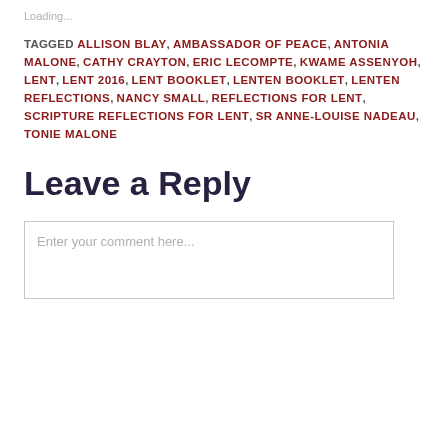Loading...
TAGGED ALLISON BLAY, AMBASSADOR OF PEACE, ANTONIA MALONE, CATHY CRAYTON, ERIC LECOMPTE, KWAME ASSENYOH, LENT, LENT 2016, LENT BOOKLET, LENTEN BOOKLET, LENTEN REFLECTIONS, NANCY SMALL, REFLECTIONS FOR LENT, SCRIPTURE REFLECTIONS FOR LENT, SR ANNE-LOUISE NADEAU, TONIE MALONE
Leave a Reply
Enter your comment here...